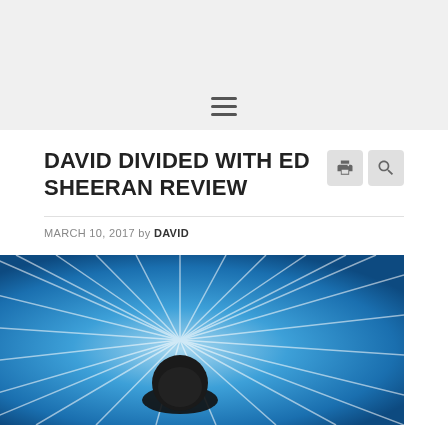[Figure (other): Website header bar with hamburger menu icon on grey background]
DAVID DIVIDED WITH ED SHEERAN REVIEW
MARCH 10, 2017 by DAVID
[Figure (photo): Ed Sheeran Divide album cover - silhouette of person with blue radial burst background]